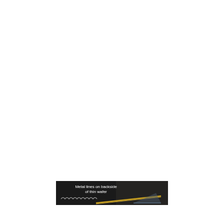[Figure (schematic): A dark-background slide image showing a schematic of metal lines on the backside of a thin wafer. White text reads 'Metal lines on backside of thin wafer'. Below the text are wavy lines representing metal lines, and a diagonal golden/yellow rod or probe touching the wafer surface.]